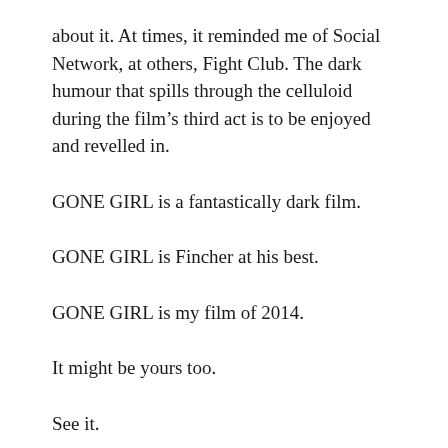about it. At times, it reminded me of Social Network, at others, Fight Club. The dark humour that spills through the celluloid during the film’s third act is to be enjoyed and revelled in.
GONE GIRL is a fantastically dark film.
GONE GIRL is Fincher at his best.
GONE GIRL is my film of 2014.
It might be yours too.
See it.